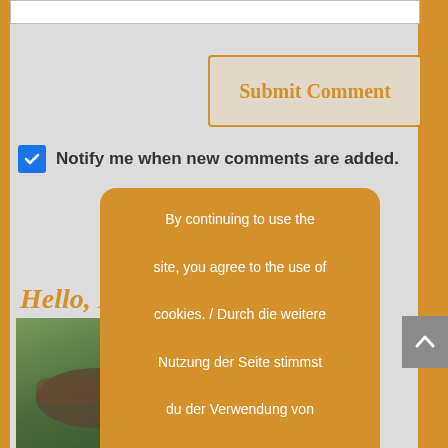[Figure (screenshot): White input field at the top of the page]
[Figure (screenshot): Submit Comment button with orange text and orange border on gray background]
Notify me when new comments are added.
Hello, I am
[Figure (photo): Person with bicycle outdoors, green foliage background]
By continuing to use the site, you agree to the use of cookies. / Durch die weitere Nutzung der Seite stimmst du der Verwendung von Cookies zu. more info / weitere Infos
[Figure (screenshot): accept / akzeptieren button on cookie overlay]